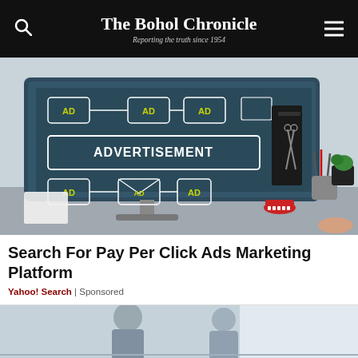The Bohol Chronicle — Reporting the truth since 1954
[Figure (photo): A computer monitor on a desk displaying a chalkboard-style graphic with the word ADVERTISEMENT and multiple 'AD' boxes connected by dashes, with office supplies and a desk toy in the background.]
Search For Pay Per Click Ads Marketing Platform
Yahoo! Search | Sponsored
[Figure (photo): Partial view of a second image at the bottom of the page, appears to show people in a bright office or meeting room setting.]